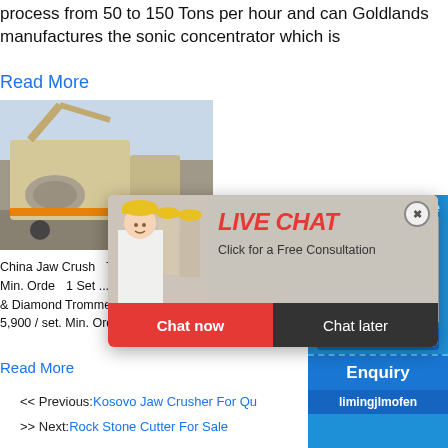process from 50 to 150 Tons per hour and can Goldlands manufactures the sonic concentrator which is
Read More
[Figure (photo): Photo of a jaw crusher machine, yellow and grey heavy equipment on a job site]
China Jaw Crusher Tanzania 5 Tph Scale Gold Mining / Set. Min. Order: 1 Set ... Gold Mining Equipment Portable Gold & Diamond Trommel Wash Plant / FOB Price: US $2,800-5,900 / set. Min. Order: 1
Read More
[Figure (screenshot): Live chat popup overlay showing a woman in hard hat with red LIVE CHAT title, Chat now and Chat later buttons]
[Figure (photo): Right sidebar with blue background showing a jaw crusher machine image, Click me to chat button, Enquiry section and limingjlmofen text]
<< Previous:Kosovo Jaw Crusher For Qu...
>> Next:Rock Stone Cutter For Sale